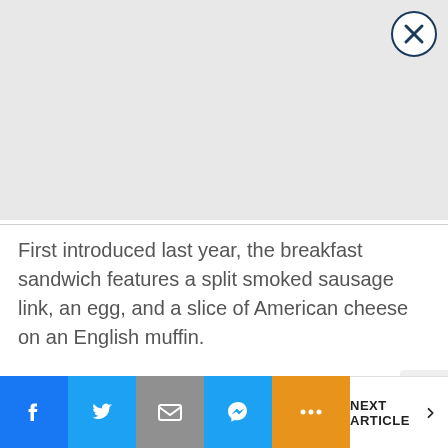[Figure (other): Gray rectangular image placeholder with a circular close/dismiss button (X) in the top-right corner]
First introduced last year, the breakfast sandwich features a split smoked sausage link, an egg, and a slice of American cheese on an English muffin.
NEXT ARTICLE >